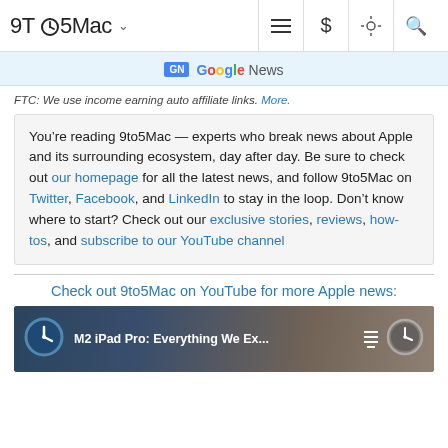9to5Mac — navigation header with hamburger menu, dollar sign, brightness, and search icons
[Figure (logo): Google News badge and wordmark on light blue background]
FTC: We use income earning auto affiliate links. More.
You’re reading 9to5Mac — experts who break news about Apple and its surrounding ecosystem, day after day. Be sure to check out our homepage for all the latest news, and follow 9to5Mac on Twitter, Facebook, and LinkedIn to stay in the loop. Don’t know where to start? Check out our exclusive stories, reviews, how-tos, and subscribe to our YouTube channel
Check out 9to5Mac on YouTube for more Apple news:
[Figure (screenshot): Video thumbnail for M2 iPad Pro: Everything We Ex... with clock icon on left, hamburger menu and clock icon on right, dark background with blurred image of person]